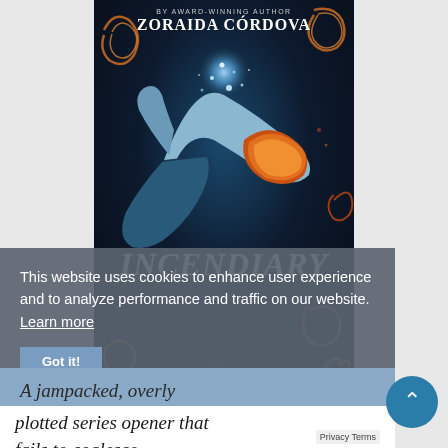[Figure (illustration): Book cover for 'Incendiary' by Zoraida Córdova (Award-winning author). Dark fantasy cover featuring a figure arching backwards with fire and swirling magical elements, glowing blue light at center top, ornate golden swirl decorations, and dark city spires at the bottom. Title 'INCENDIARY' in large decorative letters. Byline 'BY AWARD-WINNING AUTHOR ZORAIDA CÓRDOVA' at top.]
This website uses cookies to enhance user experience and to analyze performance and traffic on our website. Learn more
A jampacked, overly plotted series opener that fails to coalesce.